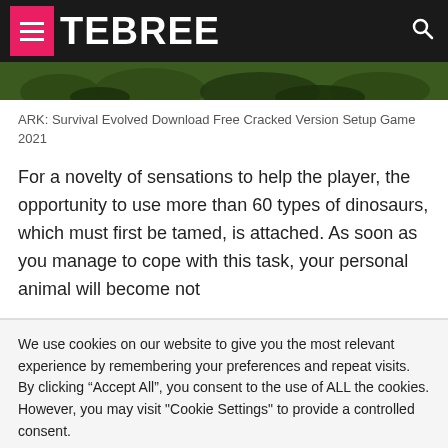TEBREE
[Figure (photo): Dark green foliage/grass background image strip]
ARK: Survival Evolved Download Free Cracked Version Setup Game 2021
For a novelty of sensations to help the player, the opportunity to use more than 60 types of dinosaurs, which must first be tamed, is attached. As soon as you manage to cope with this task, your personal animal will become not
We use cookies on our website to give you the most relevant experience by remembering your preferences and repeat visits. By clicking “Accept All”, you consent to the use of ALL the cookies. However, you may visit "Cookie Settings" to provide a controlled consent.